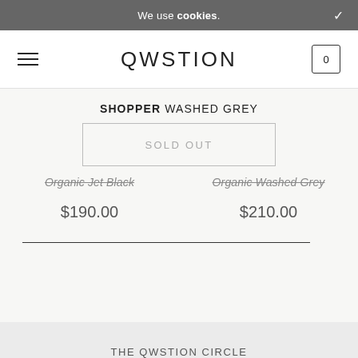We use cookies.
QWSTION
SHOPPER WASHED GREY
SOLD OUT
Organic Jet Black
Organic Washed Grey
$190.00
$210.00
THE QWSTION CIRCLE